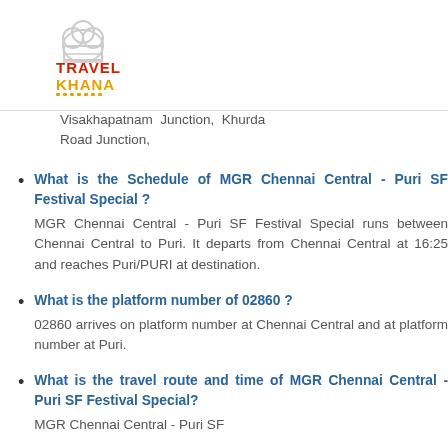Travel Khana logo
Visakhapatnam Junction, Khurda Road Junction,
What is the Schedule of MGR Chennai Central - Puri SF Festival Special ?
MGR Chennai Central - Puri SF Festival Special runs between Chennai Central to Puri. It departs from Chennai Central at 16:25 and reaches Puri/PURI at destination.
What is the platform number of 02860 ?
02860 arrives on platform number at Chennai Central and at platform number at Puri.
What is the travel route and time of MGR Chennai Central - Puri SF Festival Special?
MGR Chennai Central - Puri SF